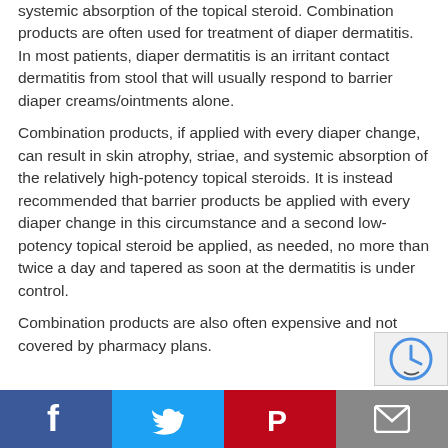systemic absorption of the topical steroid. Combination products are often used for treatment of diaper dermatitis. In most patients, diaper dermatitis is an irritant contact dermatitis from stool that will usually respond to barrier diaper creams/ointments alone.
Combination products, if applied with every diaper change, can result in skin atrophy, striae, and systemic absorption of the relatively high-potency topical steroids. It is instead recommended that barrier products be applied with every diaper change in this circumstance and a second low-potency topical steroid be applied, as needed, no more than twice a day and tapered as soon at the dermatitis is under control.
Combination products are also often expensive and not covered by pharmacy plans.
Facebook | Twitter | Pinterest | Email